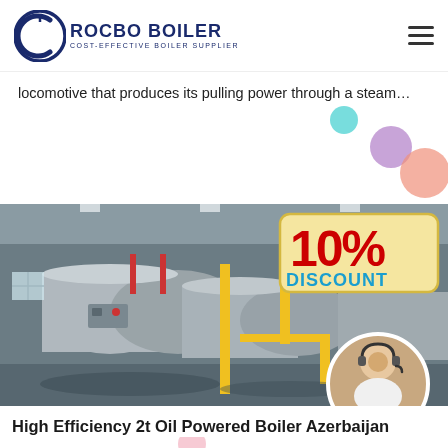[Figure (logo): Rocbo Boiler company logo with circular C-shaped icon and text 'ROCBO BOILER / COST-EFFECTIVE BOILER SUPPLIER']
locomotive that produces its pulling power through a steam…
[Figure (other): Green 'Get Price' button]
[Figure (photo): Industrial boiler facility showing large cylindrical boilers in a factory setting, with a '10% DISCOUNT' badge overlay and a circular customer service representative photo in the bottom right corner]
High Efficiency 2t Oil Powered Boiler Azerbaijan